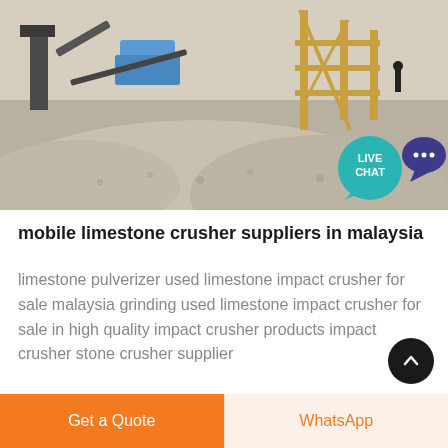[Figure (photo): Aerial/ground-level view of a limestone crushing plant with machinery, conveyor belts, and large piles of crushed gravel/aggregate. A 'LIVE CHAT' speech bubble badge is overlaid in the top-right area of the image.]
mobile limestone crusher suppliers in malaysia
limestone pulverizer used limestone impact crusher for sale malaysia grinding used limestone impact crusher for sale in high quality impact crusher products impact crusher stone crusher supplier